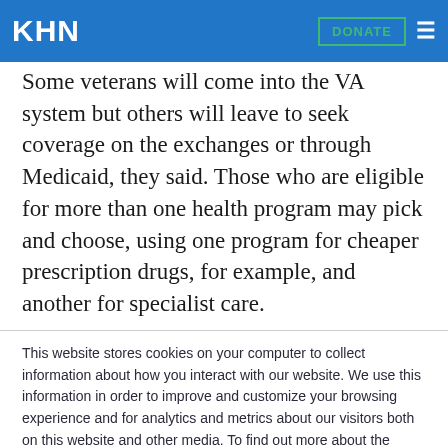KHN | DONATE
Some veterans will come into the VA system but others will leave to seek coverage on the exchanges or through Medicaid, they said. Those who are eligible for more than one health program may pick and choose, using one program for cheaper prescription drugs, for example, and another for specialist care.
This website stores cookies on your computer to collect information about how you interact with our website. We use this information in order to improve and customize your browsing experience and for analytics and metrics about our visitors both on this website and other media. To find out more about the cookies we use, see our Privacy Policy.
Accept